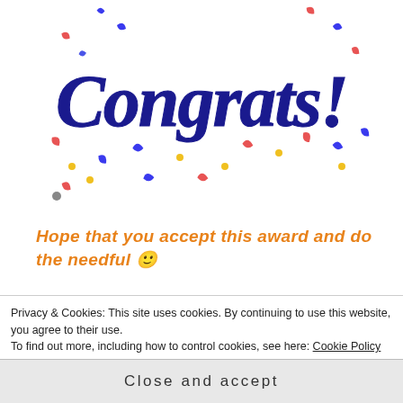[Figure (illustration): Congrats! handwritten-style text in dark navy blue with colorful confetti pieces (red, blue, yellow) scattered around it on a white background.]
Hope that you accept this award and do the needful 🙂
Privacy & Cookies: This site uses cookies. By continuing to use this website, you agree to their use.
To find out more, including how to control cookies, see here: Cookie Policy
Close and accept
Nominate few bloggers for the award